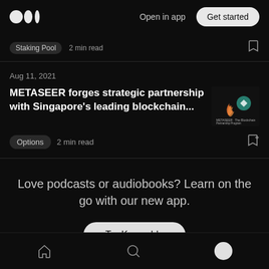Medium — Open in app | Get started
Staking Pool  2 min read
Aug 11, 2021
METASEER forges strategic partnership with Singapore's leading blockchain...
Options  2 min read
Love podcasts or audiobooks? Learn on the go with our new app.
Try Knowable
Home | Search | Profile